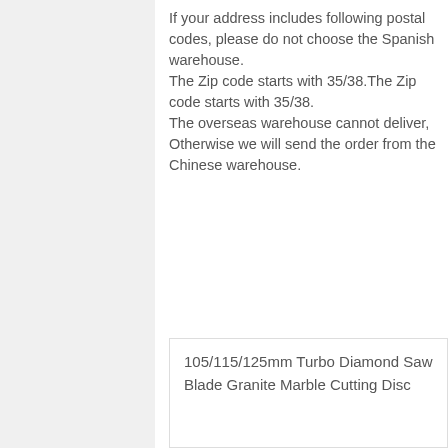If your address includes following postal codes, please do not choose the Spanish warehouse.
The Zip code starts with 35/38.The Zip code starts with 35/38.
The overseas warehouse cannot deliver, Otherwise we will send the order from the Chinese warehouse.
105/115/125mm Turbo Diamond Saw Blade Granite Marble Cutting Disc